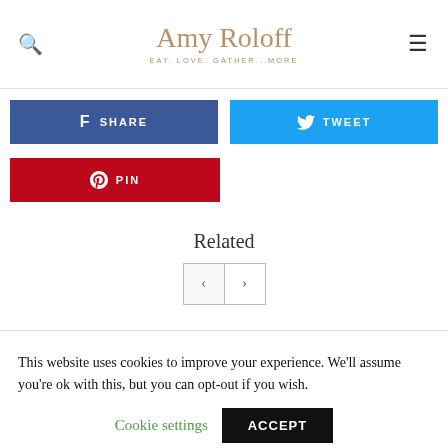Amy Roloff — Eat. Love. Gather...More
[Figure (other): Facebook share button (dark blue) and Twitter tweet button (light blue), side by side]
[Figure (other): Pinterest pin button (red)]
Related
[Figure (other): Navigation arrows: left and right pagination buttons]
This website uses cookies to improve your experience. We'll assume you're ok with this, but you can opt-out if you wish.
Cookie settings   ACCEPT